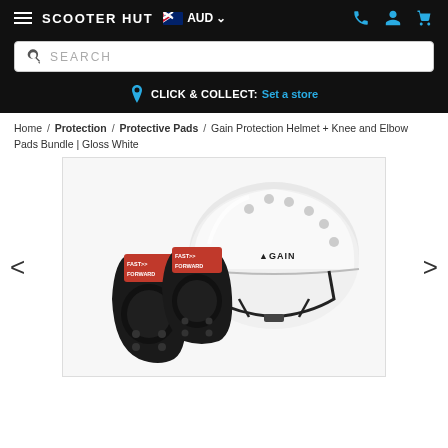SCOOTER HUT  AUD
SEARCH
CLICK & COLLECT:  Set a store
Home / Protection / Protective Pads / Gain Protection Helmet + Knee and Elbow Pads Bundle | Gloss White
[Figure (photo): Product photo showing a white Gain Protection helmet and black Fast Forward knee and elbow pads bundle against a white background.]